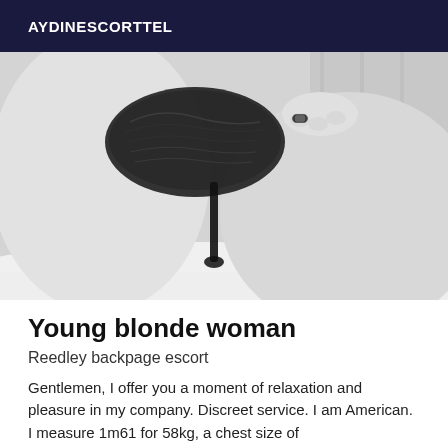AYDINESCORTTEL
[Figure (photo): Black and white photo of a woman in a black lace bra, lying on a bed]
Young blonde woman
Reedley backpage escort
Gentlemen, I offer you a moment of relaxation and pleasure in my company. Discreet service. I am American. I measure 1m61 for 58kg, a chest size of